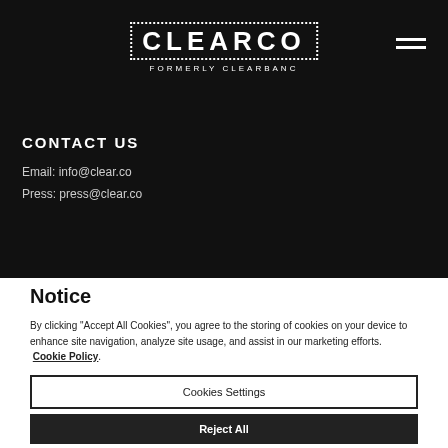CLEARCO FORMERLY CLEARBANC
CONTACT US
Email: info@clear.co
Press: press@clear.co
Notice
By clicking "Accept All Cookies", you agree to the storing of cookies on your device to enhance site navigation, analyze site usage, and assist in our marketing efforts. Cookie Policy.
Cookies Settings
Reject All
Accept All Cookies